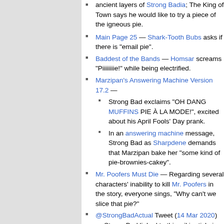ancient layers of Strong Badia; The King of Town says he would like to try a piece of the igneous pie.
Main Page 25 — Shark-Tooth Bubs asks if there is "email pie".
Baddest of the Bands — Homsar screams "Piiiiiiiie!" while being electrified.
Marzipan's Answering Machine Version 17.2 —
Strong Bad exclaims "OH DANG MUFFINS PIE À LA MODE!", excited about his April Fools' Day prank.
In an answering machine message, Strong Bad as Sharpdene demands that Marzipan bake her "some kind of pie-brownies-cakey".
Mr. Poofers Must Die — Regarding several characters' inability to kill Mr. Poofers in the story, everyone sings, "Why can't we slice that pie?"
@StrongBadActual Tweet (14 Mar 2020) — Strong Bad linked to this wiki article in honor of Pi Day.
Dick 4 of 13 – FriendlyWar — Strong Bad